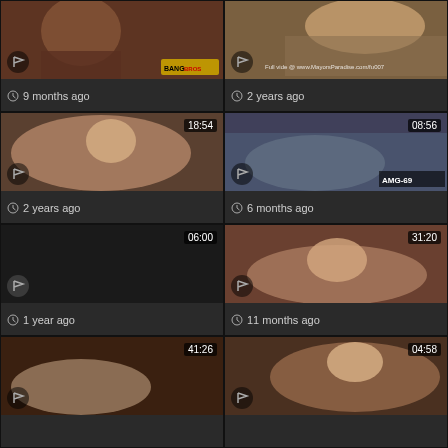[Figure (screenshot): Video thumbnail grid with 8 video cards in 2 columns, each showing a thumbnail image, duration badge, flag icon, and time-ago metadata]
9 months ago
2 years ago
18:54 | 2 years ago
08:56 | 6 months ago
06:00 | 1 year ago
31:20 | 11 months ago
41:26
04:58